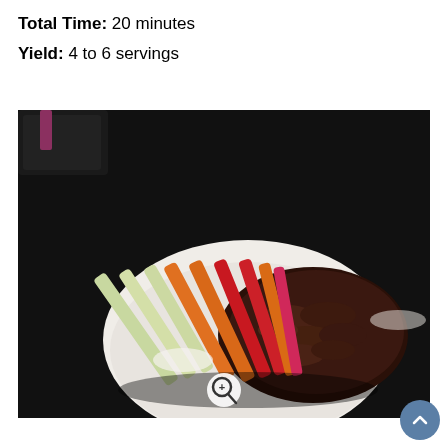Total Time: 20 minutes
Yield: 4 to 6 servings
[Figure (photo): A white bowl containing a dark bean dip or mole-style meat dish surrounded by colorful vegetable crudités including celery, carrots, and red bell pepper strips, on a dark background. A magnifying glass zoom icon is visible at the bottom center of the image.]